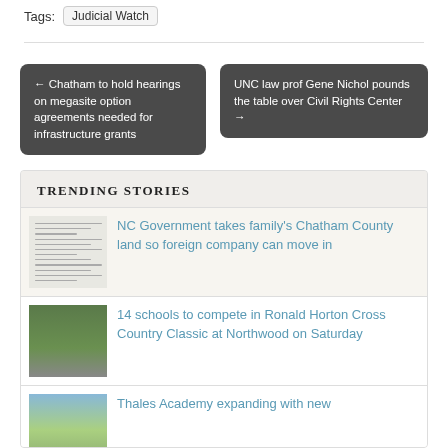Tags:  Judicial Watch
← Chatham to hold hearings on megasite option agreements needed for infrastructure grants
UNC law prof Gene Nichol pounds the table over Civil Rights Center →
TRENDING STORIES
[Figure (screenshot): Thumbnail of a document with text lines]
NC Government takes family's Chatham County land so foreign company can move in
[Figure (photo): Aerial view of a sports field, green]
14 schools to compete in Ronald Horton Cross Country Classic at Northwood on Saturday
[Figure (photo): Building or outdoor scene with blue sky]
Thales Academy expanding with new